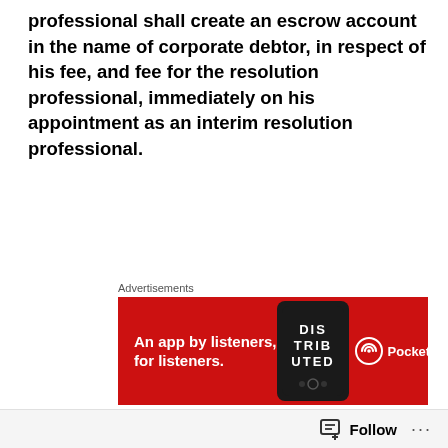professional shall create an escrow account in the name of corporate debtor, in respect of his fee, and fee for the resolution professional, immediately on his appointment as an interim resolution professional.
[Figure (screenshot): Advertisement banner for Pocket Casts app — red background with text 'An app by listeners, for listeners.' and Pocket Casts logo on right, phone graphic in center with stylized text overlay.]
I welcome the intention. However, there is a practical difficulty in complying with the Draft Regulation. If the Insolvency Professional opens an escrow account in the name of the Corporate Debtor, Banks asks PAN, Address Proof and Incorporation Documents of the Corporate Debtor. Most of the time, one or more of these documents are not readily available due to non-cooperation. IBBI and
Follow ···